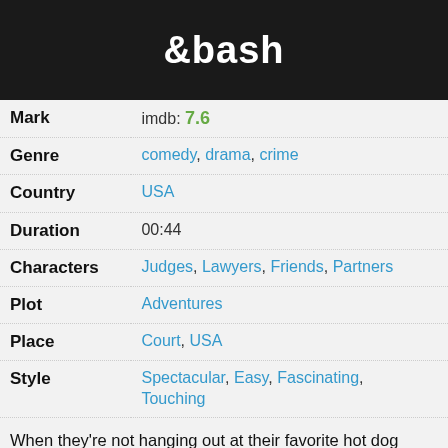[Figure (photo): Dark banner with white bold text '&bash' on black background, appears to be a TV show title card]
| Mark | imdb: 7.6 |
| Genre | comedy, drama, crime |
| Country | USA |
| Duration | 00:44 |
| Characters | Judges, Lawyers, Friends, Partners |
| Plot | Adventures |
| Place | Court, USA |
| Style | Spectacular, Easy, Fascinating, Touching |
When they're not hanging out at their favorite hot dog stand pontificating on what they'd go through to enjoy a night with their favorite female celebrities, Jared Franklin and Peter Bash are chasing down their latest clients...sometimes literally. With business cards in hand, they're ready to nab a client within